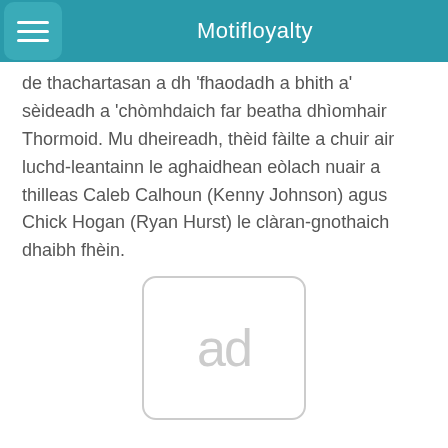Motifloyalty
de thachartasan a dh 'fhaodadh a bhith a' sèideadh a 'chòmhdaich far beatha dhìomhair Thormoid. Mu dheireadh, thèid fàilte a chuir air luchd-leantainn le aghaidhean eòlach nuair a thilleas Caleb Calhoun (Kenny Johnson) agus Chick Hogan (Ryan Hurst) le clàran-gnothaich dhaibh fhèin.
[Figure (other): Advertisement placeholder box with text 'ad']